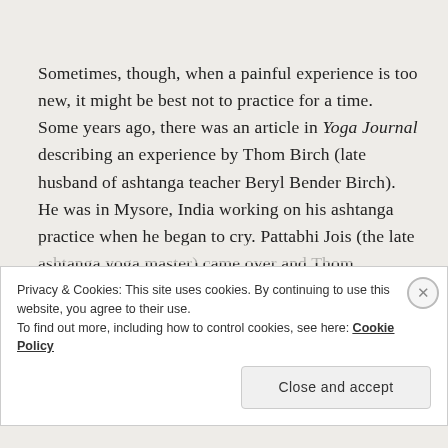Sometimes, though, when a painful experience is too new, it might be best not to practice for a time.  Some years ago, there was an article in Yoga Journal describing an experience by Thom Birch (late husband of ashtanga teacher Beryl Bender Birch). He was in Mysore, India working on his ashtanga practice when he began to cry. Pattabhi Jois (the late ashtanga yoga master) came over and Thom mentioned to Jois that he had just found out his father had died.  Jois stopped his practice and told him, “No
Privacy & Cookies: This site uses cookies. By continuing to use this website, you agree to their use.
To find out more, including how to control cookies, see here: Cookie Policy
Close and accept